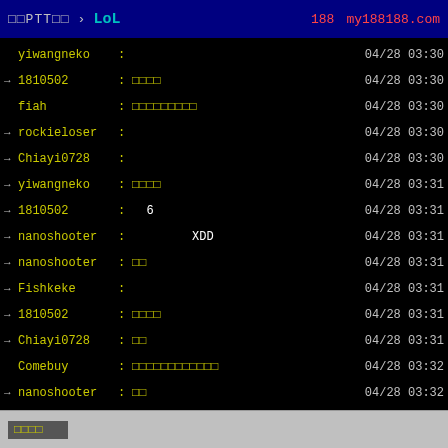批踢踢實業坊 > LoL  188  my188188.com
yiwangneko :  04/28 03:30
→ 1810502 : 看板  04/28 03:30
fiah : 看板看板看板看板  04/28 03:30
→ rockieloser :  04/28 03:30
→ Chiayi0728 :  04/28 03:30
→ yiwangneko : 看板  04/28 03:31
→ 1810502 :  6  04/28 03:31
→ nanoshooter :  XDD  04/28 03:31
→ nanoshooter : 看板  04/28 03:31
→ Fishkeke :  04/28 03:31
→ 1810502 : 看板  04/28 03:31
→ Chiayi0728 : 看板  04/28 03:31
Comebuy : 看板看板看板看板  04/28 03:32
→ nanoshooter : 看板  04/28 03:32
→ Fishkeke :  (x  04/28 03:32
→ nanoshooter : 看板看板  04/28 03:32
→ yiwangneko : 看板  04/28 03:32
1810502 : 看板看板看板看板看板  04/28 03:32
看板